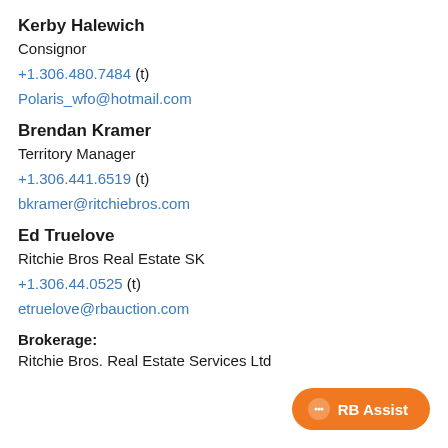Kerby Halewich
Consignor
+1.306.480.7484 (t)
Polaris_wfo@hotmail.com
Brendan Kramer
Territory Manager
+1.306.441.6519 (t)
bkramer@ritchiebros.com
Ed Truelove
Ritchie Bros Real Estate SK
+1.306.44.0525 (t)
etruelove@rbauction.com
Brokerage:
Ritchie Bros. Real Estate Services Ltd